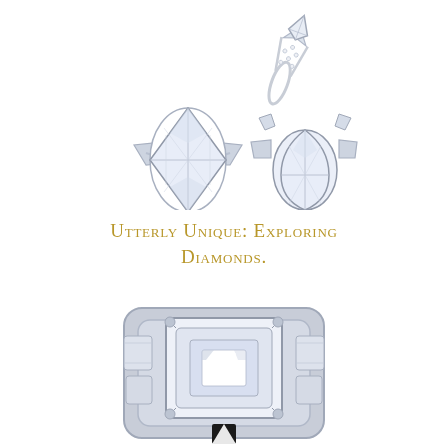[Figure (photo): Three diamond rings arranged together: a marquise-cut diamond ring with tapered baguette side stones, a smaller ring with pear/kite-shaped stones in a chevron setting, and an oval/pear diamond ring with baguette side stones, all in platinum or white gold settings, photographed on white background.]
Utterly Unique: Exploring Diamonds.
[Figure (photo): Close-up top-down view of a large emerald-cut or step-cut diamond ring in a platinum or white gold setting with step-cut side stones, photographed from above showing the facets and setting detail. A small logo or watermark is visible at the bottom center.]